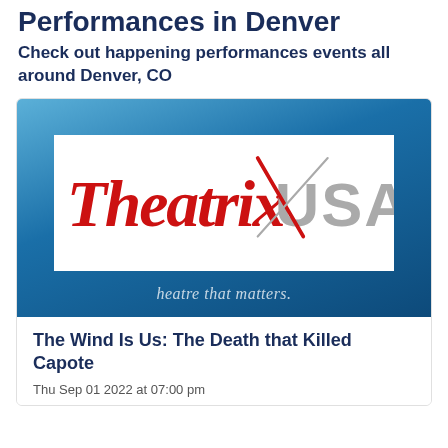Performances in Denver
Check out happening performances events all around Denver, CO
[Figure (logo): TheatriX USA logo on a blue gradient background with the tagline 'theatre that matters.']
The Wind Is Us: The Death that Killed Capote
Thu Sep 01 2022 at 07:00 pm